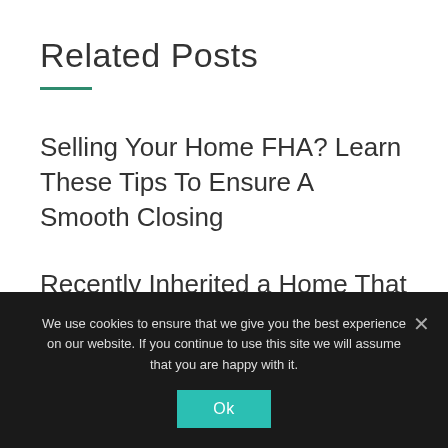Related Posts
Selling Your Home FHA? Learn These Tips To Ensure A Smooth Closing
Recently Inherited a Home That You Don't Need? Here's How to Get It Sold Without Too Much Stress
We use cookies to ensure that we give you the best experience on our website. If you continue to use this site we will assume that you are happy with it.